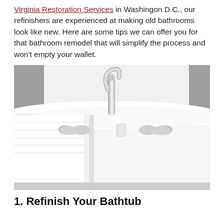Virginia Restoration Services in Washingon D.C., our refinishers are experienced at making old bathrooms look like new. Here are some tips we can offer you for that bathroom remodel that will simplify the process and won't empty your wallet.
[Figure (photo): Close-up photo of a white bathtub with chrome faucet fixtures and a white towel draped over the side]
1. Refinish Your Bathtub